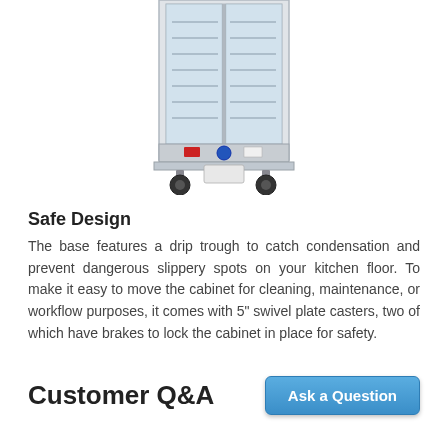[Figure (photo): A tall commercial food holding/warming cabinet with a glass door, metal frame, visible interior wire racks, a control panel with red and blue knobs/indicators near the bottom, and four black swivel casters at the base. The image is cropped showing the cabinet from approximately mid-height down.]
Safe Design
The base features a drip trough to catch condensation and prevent dangerous slippery spots on your kitchen floor. To make it easy to move the cabinet for cleaning, maintenance, or workflow purposes, it comes with 5" swivel plate casters, two of which have brakes to lock the cabinet in place for safety.
Customer Q&A
Ask a Question